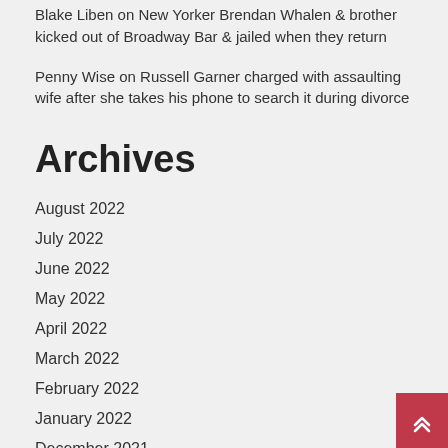Blake Liben on New Yorker Brendan Whalen & brother kicked out of Broadway Bar & jailed when they return
Penny Wise on Russell Garner charged with assaulting wife after she takes his phone to search it during divorce
Archives
August 2022
July 2022
June 2022
May 2022
April 2022
March 2022
February 2022
January 2022
December 2021